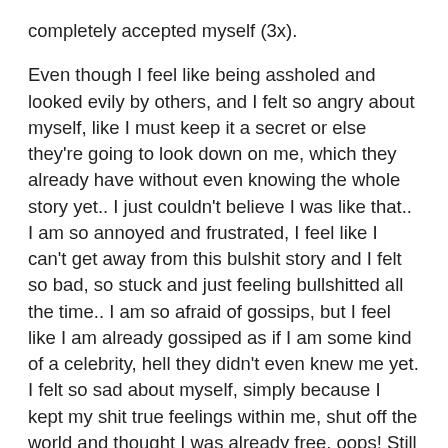completely accepted myself (3x).

Even though I feel like being assholed and looked evily by others, and I felt so angry about myself, like I must keep it a secret or else they're going to look down on me, which they already have without even knowing the whole story yet.. I just couldn't believe I was like that.. I am so annoyed and frustrated, I feel like I can't get away from this bulshit story and I felt so bad, so stuck and just feeling bullshitted all the time.. I am so afraid of gossips, but I feel like I am already gossiped as if I am some kind of a celebrity, hell they didn't even knew me yet. I felt so sad about myself, simply because I kept my shit true feelings within me, shut off the world and thought I was already free, oops! Still stuck there! I hated it so much that I was hiding in the dark like a crazy monster.. Fear, I felt so scared of it. It's like a threat and a